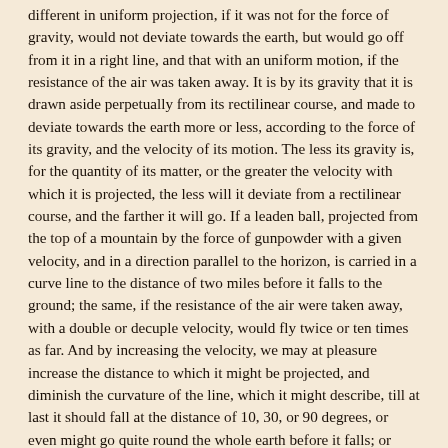different in uniform projection, if it was not for the force of gravity, would not deviate towards the earth, but would go off from it in a right line, and that with an uniform motion, if the resistance of the air was taken away. It is by its gravity that it is drawn aside perpetually from its rectilinear course, and made to deviate towards the earth more or less, according to the force of its gravity, and the velocity of its motion. The less its gravity is, for the quantity of its matter, or the greater the velocity with which it is projected, the less will it deviate from a rectilinear course, and the farther it will go. If a leaden ball, projected from the top of a mountain by the force of gunpowder with a given velocity, and in a direction parallel to the horizon, is carried in a curve line to the distance of two miles before it falls to the ground; the same, if the resistance of the air were taken away, with a double or decuple velocity, would fly twice or ten times as far. And by increasing the velocity, we may at pleasure increase the distance to which it might be projected, and diminish the curvature of the line, which it might describe, till at last it should fall at the distance of 10, 30, or 90 degrees, or even might go quite round the whole earth before it falls; or lastly, so that it might never fall to the earth, but go forward into the celestial spaces, and proceed in its motion in infinitum. And after the same manner that a projectile, by the force of gravity, may be made to revolve in an orbit, and go round the whole earth, the moon also, either